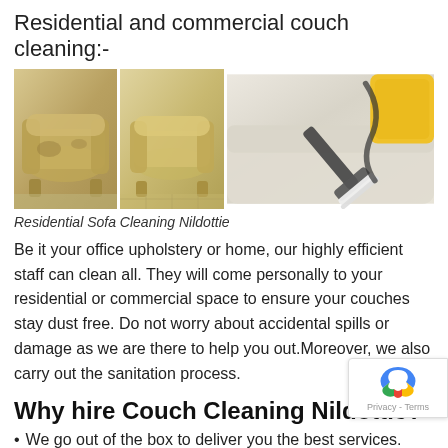Residential and commercial couch cleaning:-
[Figure (photo): Three photos of couch cleaning: two armchairs (dirty and cleaned) on the left, and a vacuum cleaning tool on a white leather sofa on the right.]
Residential Sofa Cleaning Nildottie
Be it your office upholstery or home, our highly efficient staff can clean all. They will come personally to your residential or commercial space to ensure your couches stay dust free. Do not worry about accidental spills or damage as we are there to help you out.Moreover, we also carry out the sanitation process.
Why hire Couch Cleaning Nildottie?
We go out of the box to deliver you the best services.